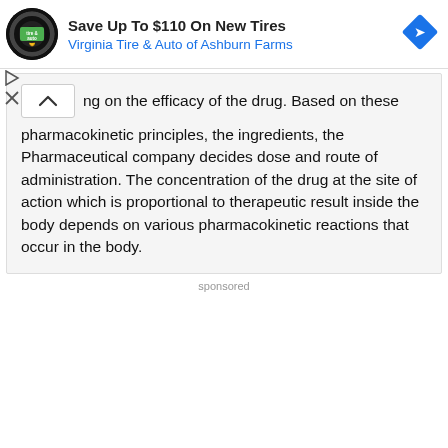[Figure (logo): Virginia Tire & Auto advertisement banner with circular tire logo, text 'Save Up To $110 On New Tires', 'Virginia Tire & Auto of Ashburn Farms', and a blue diamond navigation icon]
ng on the efficacy of the drug. Based on these pharmacokinetic principles, the ingredients, the Pharmaceutical company decides dose and route of administration. The concentration of the drug at the site of action which is proportional to therapeutic result inside the body depends on various pharmacokinetic reactions that occur in the body.
sponsored